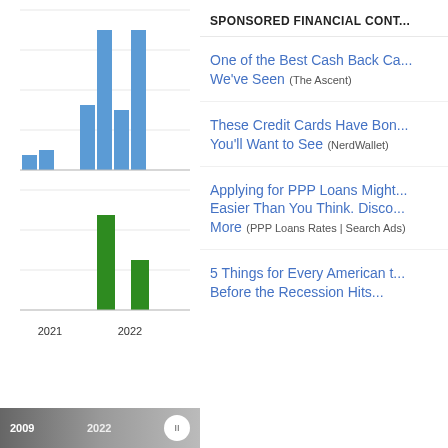[Figure (bar-chart): Two grouped bar charts stacked vertically. Top chart shows blue bars across years with values for 2021 and 2022. Bottom chart shows green bars for 2021 and 2022. X-axis labels: 2021, 2022.]
SPONSORED FINANCIAL CONT...
One of the Best Cash Back Ca... We've Seen (The Ascent)
These Credit Cards Have Bon... You'll Want to See (NerdWallet)
Applying for PPP Loans Might... Easier Than You Think. Disco... More (PPP Loans Rates | Search Ads)
5 Things for Every American t... Before the Recession Hits...